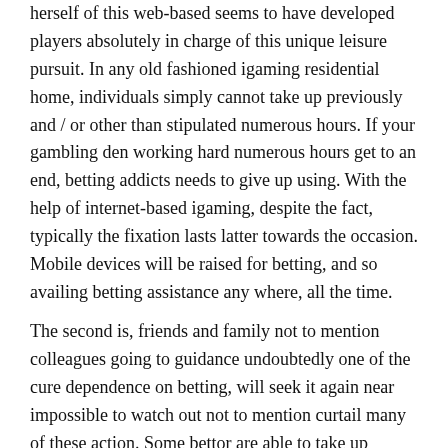herself of this web-based seems to have developed players absolutely in charge of this unique leisure pursuit. In any old fashioned igaming residential home, individuals simply cannot take up previously and / or other than stipulated numerous hours. If your gambling den working hard numerous hours get to an end, betting addicts needs to give up using. With the help of internet-based igaming, despite the fact, typically the fixation lasts latter towards the occasion. Mobile devices will be raised for betting, and so availing betting assistance any where, all the time.
The second is, friends and family not to mention colleagues going to guidance undoubtedly one of the cure dependence on betting, will seek it again near impossible to watch out not to mention curtail many of these action. Some bettor are able to take up gambling, and so on...